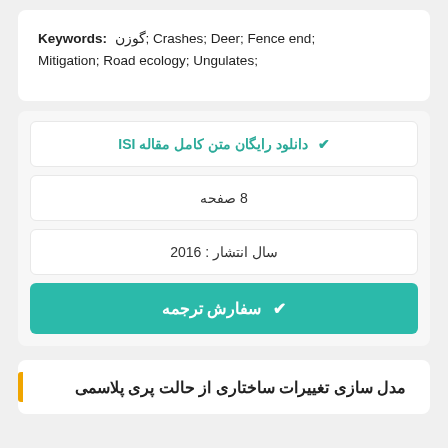Keywords: گوزن; Crashes; Deer; Fence end; Mitigation; Road ecology; Ungulates;
✔ دانلود رایگان متن کامل مقاله ISI
8 صفحه
سال انتشار : 2016
✔ سفارش ترجمه
مدل سازی تغییرات ساختاری از حالت پری پلاسمی